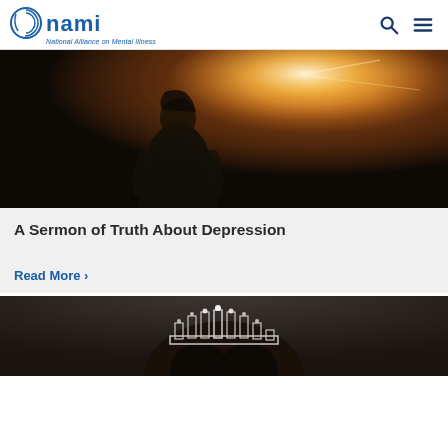NAMI - National Alliance on Mental Illness
[Figure (photo): Person viewed from behind with golden backlight/sunlight in a natural outdoor setting]
A Sermon of Truth About Depression
Read More >
[Figure (photo): Close-up of a person wearing a decorative crown/tiara, curly hair visible]